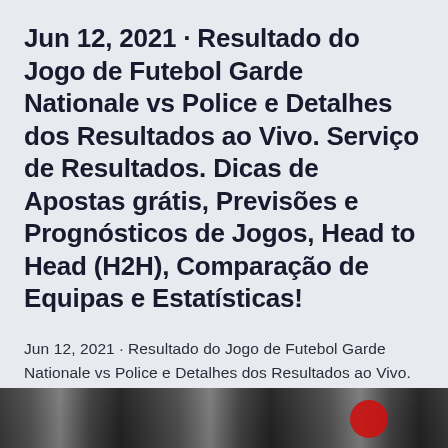Jun 12, 2021 · Resultado do Jogo de Futebol Garde Nationale vs Police e Detalhes dos Resultados ao Vivo. Serviço de Resultados. Dicas de Apostas grátis, Previsões e Prognósticos de Jogos, Head to Head (H2H), Comparação de Equipas e Estatísticas!
Jun 12, 2021 · Resultado do Jogo de Futebol Garde Nationale vs Police e Detalhes dos Resultados ao Vivo. Serviço de Resultados.
[Figure (photo): Partial photo strip at the bottom of the page, dark tones, appears to show sports-related imagery with a red circular element.]